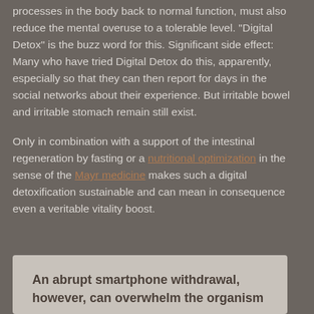processes in the body back to normal function, must also reduce the mental overuse to a tolerable level. "Digital Detox" is the buzz word for this. Significant side effect: Many who have tried Digital Detox do this, apparently, especially so that they can then report for days in the social networks about their experience. But irritable bowel and irritable stomach remain still exist.
Only in combination with a support of the intestinal regeneration by fasting or a nutritional optimization in the sense of the Mayr medicine makes such a digital detoxification sustainable and can mean in consequence even a veritable vitality boost.
An abrupt smartphone withdrawal, however, can overwhelm the organism